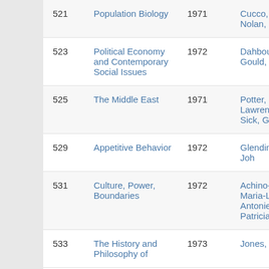| 521 | Population Biology | 1971 | Cucco, Alison
Nolan, Kathleen |
| 523 | Political Economy and Contemporary Social Issues | 1972 | Dahbour, Omar
Gould, Carol |
| 525 | The Middle East | 1971 | Potter, Lawrence G.
Sick, Gary |
| 529 | Appetitive Behavior | 1972 | Glendinning, Joh |
| 531 | Culture, Power, Boundaries | 1972 | Achino-Loeb, Maria-Luisa
Antoniello, Patricia |
| 533 | The History and Philosophy of | 1973 | Jones, Matthew |